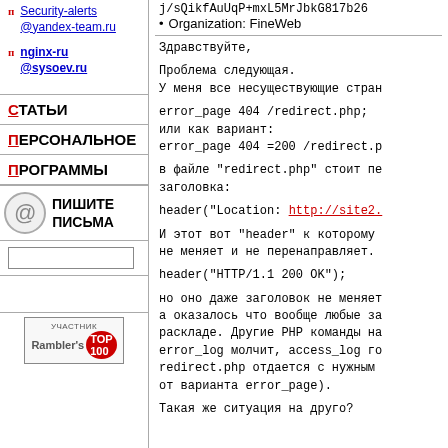Security-alerts@yandex-team.ru
nginx-ru@sysoev.ru
СТАТЬИ
ПЕРСОНАЛЬНОЕ
ПРОГРАММЫ
ПИШИТЕ ПИСЬМА
j/sQikfAuUqP+mxL5MrJbkG817b26
Organization: FineWeb
Здравствуйте,

Проблема следующая.
У меня все несуществующие стран

error_page 404 /redirect.php;
или как вариант:
error_page 404 =200 /redirect.p

в файле "redirect.php" стоит пе
заголовка:

header("Location: http://site2.

И этот вот "header" к которому
не меняет и не перенаправляет.

header("HTTP/1.1 200 OK");

но оно даже заголовок не меняет
а оказалось что вообще любые за
раскладе. Другие PHP команды на
error_log молчит, access_log го
redirect.php отдается с нужным
от варианта error_page).

Такая же ситуация на друго?
[Figure (logo): Rambler's Top 100 участник badge]